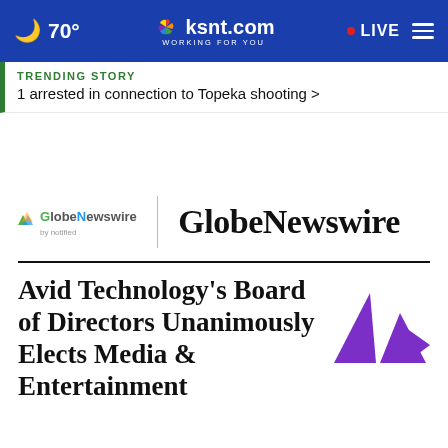🌙 70° | ksnt.com WORKING FOR YOU | • LIVE ≡
TRENDING STORY
1 arrested in connection to Topeka shooting >
[Figure (logo): GlobeNewswire by notified logo on the left, large GlobeNewswire text on the right with a vertical divider]
Avid Technology's Board of Directors Unanimously Elects Media & Entertainment
[Figure (logo): Avid logo — purple triangular shape with two arrow-like forms]